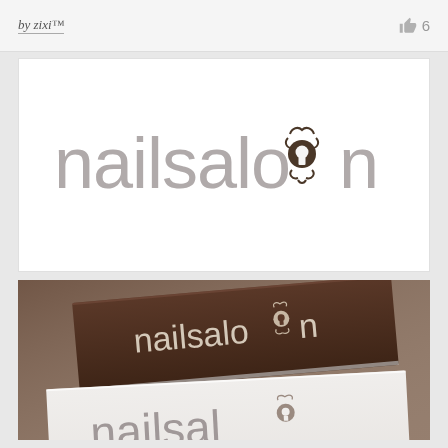by zixi™
6
[Figure (logo): nailsaloon logo on white background — lowercase text 'nailsaloon' in thin grey serif/sans font with an ornate keyhole decorative emblem replacing the two o's]
[Figure (photo): Photo of stacked business cards on a dark beige/mocha surface. Top card is dark brown/chocolate colored with the nailsaloon logo in cream/white. Bottom card is white with the nailsaloon logo in grey.]